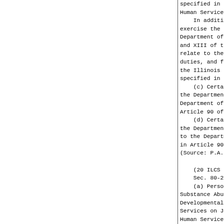specified in that Act, are tr
Human Services on July 1, 1997.
    In addition, the Department
exercise the rights, powers, duti
Department of Public Aid under A
and XIII of the Illinois Public A
relate to the Department of Hu
duties, and functions under Artic
the Illinois Public Aid Code,
specified in that Code.
    (c) Certain rights, powers, d
the Department of Public Hea
Department of Human Services on
Article 90 of this Act.
    (d) Certain rights, powers, d
the Department of Children and F
to the Department of Human Servic
in Article 90 of this Act.
(Source: P.A. 89-507, eff. 7-3-96

    (20 ILCS 1305/80-20)
    Sec. 80-20. Transfer of perso
    (a) Personnel employed by th
Substance Abuse, the Departm
Developmental Disabilities, or th
Services on June 30, 1997 are tr
Human Services on July 1, 1997.
    (b) Except as provided in sub
by any other predecessor agency
duties pertaining to one or more
Department of Human Services